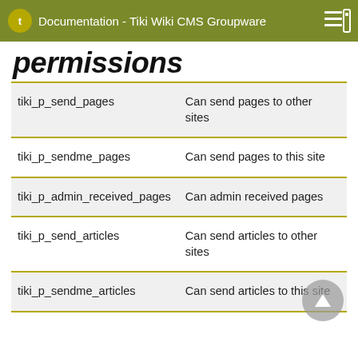Documentation - Tiki Wiki CMS Groupware
permissions
|  |  |
| --- | --- |
| tiki_p_send_pages | Can send pages to other sites |
| tiki_p_sendme_pages | Can send pages to this site |
| tiki_p_admin_received_pages | Can admin received pages |
| tiki_p_send_articles | Can send articles to other sites |
| tiki_p_sendme_articles | Can send articles to this site |